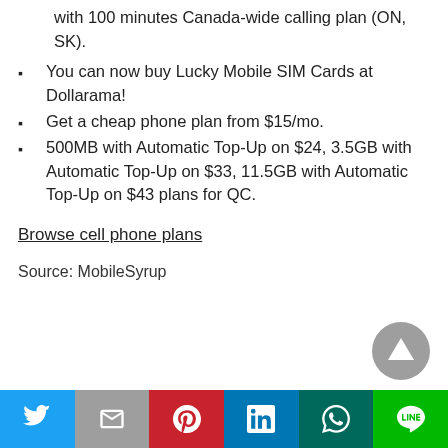with 100 minutes Canada-wide calling plan (ON, SK).
You can now buy Lucky Mobile SIM Cards at Dollarama!
Get a cheap phone plan from $15/mo.
500MB with Automatic Top-Up on $24, 3.5GB with Automatic Top-Up on $33, 11.5GB with Automatic Top-Up on $43 plans for QC.
Browse cell phone plans
Source: MobileSyrup